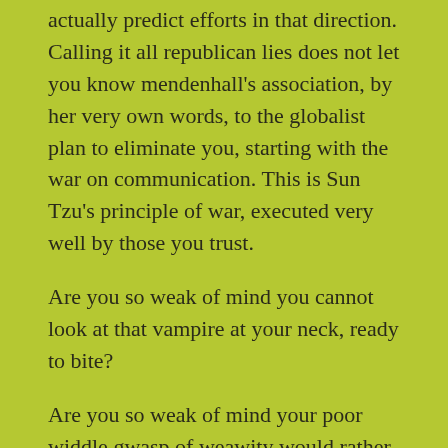actually predict efforts in that direction. Calling it all republican lies does not let you know mendenhall's association, by her very own words, to the globalist plan to eliminate you, starting with the war on communication. This is Sun Tzu's principle of war, executed very well by those you trust.
Are you so weak of mind you cannot look at that vampire at your neck, ready to bite?
Are you so weak of mind your poor widdle gwasp of weawity would rather have you let the vampire bite, sending you to an early grave? As long as you do not have to face the reality, the reality somehow, magically goes away?
Are you that childish? Do you have others who depend